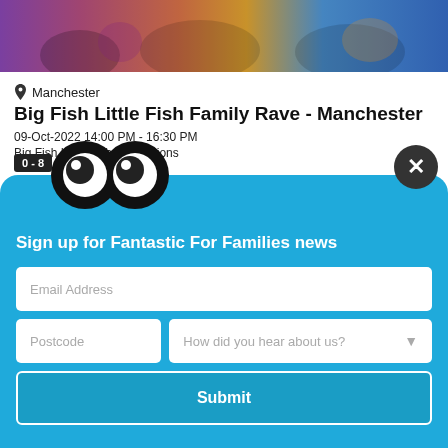[Figure (photo): Crowd of people at a family rave event, colorful lighting]
Manchester
Big Fish Little Fish Family Rave - Manchester
09-Oct-2022 14:00 PM - 16:30 PM
Big Fish Little Fish Productions
0 - 8
[Figure (logo): Big Fish Little Fish logo - two cartoon eye/fish characters on black circles]
Sign up for Fantastic For Families news
Email Address
Postcode
How did you hear about us?
Submit